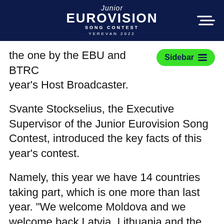Junior Eurovision Song Contest Yerevan 2022
the one by the EBU and BTRC year's Host Broadcaster.
Svante Stockselius, the Executive Supervisor of the Junior Eurovision Song Contest, introduced the key facts of this year's contest.
Namely, this year we have 14 countries taking part, which is one more than last year. "We welcome Moldova and we welcome back Latvia, Lithuania and the Swedish broadcaster SVT," Stockselius said.